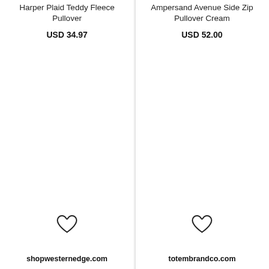Harper Plaid Teddy Fleece Pullover
USD 34.97
Ampersand Avenue Side Zip Pullover Cream
USD 52.00
[Figure (illustration): Heart/wishlist icon for left product]
[Figure (illustration): Heart/wishlist icon for right product]
shopwesternedge.com
totembrandco.com